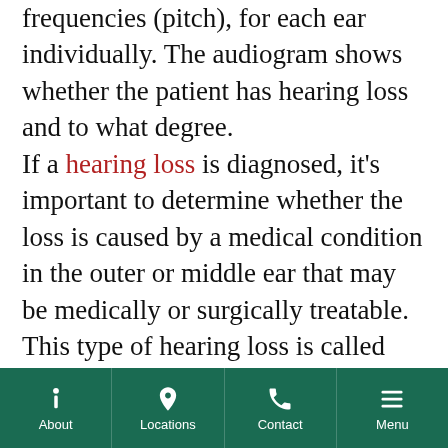frequencies (pitch), for each ear individually. The audiogram shows whether the patient has hearing loss and to what degree.

If a hearing loss is diagnosed, it's important to determine whether the loss is caused by a medical condition in the outer or middle ear that may be medically or surgically treatable. This type of hearing loss is called conductive. If the loss is caused by damage in the inner ear, the hearing loss is most likely permanent. This type of permanent hearing loss is
About | Locations | Contact | Menu